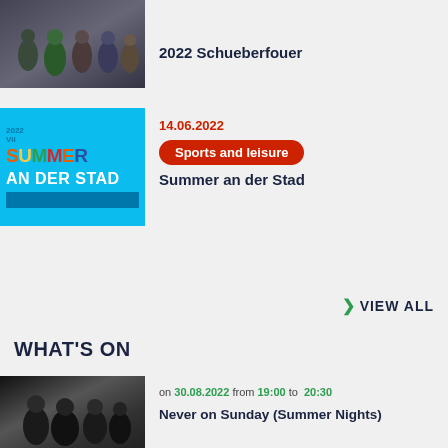[Figure (photo): Group photo of people in colorful clothing]
2022 Schueberfouer
[Figure (illustration): Blue event banner: SUMMER AN DER STAD]
14.06.2022
Sports and leisure
Summer an der Stad
VIEW ALL
WHAT'S ON
[Figure (photo): Black and white photo of group of people gathered around a table]
on 30.08.2022 from 19:00 to 20:30
Never on Sunday (Summer Nights)